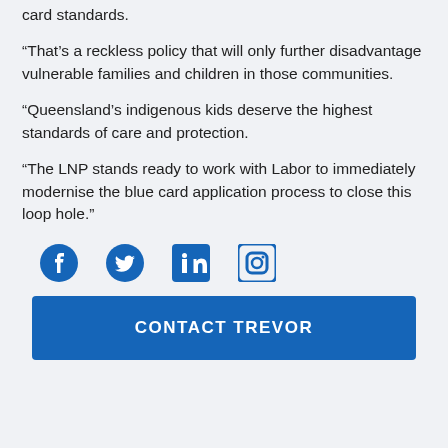card standards.
“That’s a reckless policy that will only further disadvantage vulnerable families and children in those communities.
“Queensland’s indigenous kids deserve the highest standards of care and protection.
“The LNP stands ready to work with Labor to immediately modernise the blue card application process to close this loop hole.”
[Figure (infographic): Four social media icons: Facebook, Twitter, LinkedIn, Instagram in blue]
CONTACT TREVOR